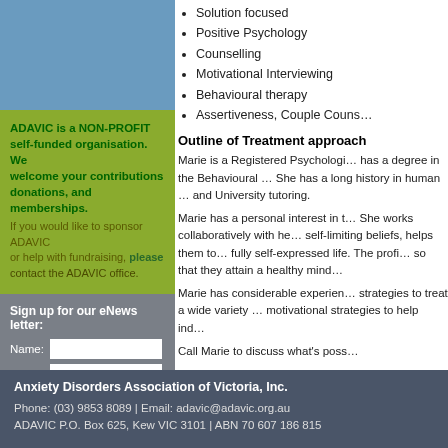Solution focused
Positive Psychology
Counselling
Motivational Interviewing
Behavioural therapy
Assertiveness, Couple Couns…
Outline of Treatment approach
Marie is a Registered Psychologi… has a degree in the Behavioural … She has a long history in human … and University tutoring.
Marie has a personal interest in t… She works collaboratively with he… self-limiting beliefs, helps them to… fully self-expressed life. The profi… so that they attain a healthy mind…
Marie has considerable experien… strategies to treat a wide variety … motivational strategies to help ind…
Call Marie to discuss what's poss…
ADAVIC is a NON-PROFIT self-funded organisation. We welcome your contributions donations, and memberships. If you would like to sponsor ADAVIC or help with fundraising, please contact the ADAVIC office.
Sign up for our eNews letter:
Anxiety Disorders Association of Victoria, Inc.
Phone: (03) 9853 8089 | Email: adavic@adavic.org.au
ADAVIC P.O. Box 625, Kew VIC 3101 | ABN 70 607 186 815